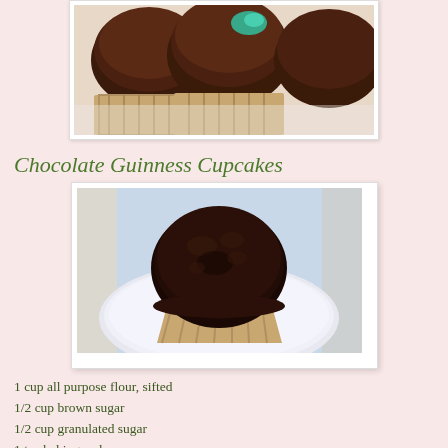[Figure (photo): Close-up photo of chocolate cupcakes with teal/green glitter sprinkles on chocolate frosting, in metallic cupcake liners]
Chocolate Guinness Cupcakes
[Figure (photo): A single chocolate cupcake on a white plate, unfrosted, showing dark chocolate cake top in a metallic liner]
1 cup all purpose flour, sifted
1/2 cup brown sugar
1/2 cup granulated sugar
1 tsp baking soda
1/4 tsp salt
1 egg
1/4 cup buttermilk